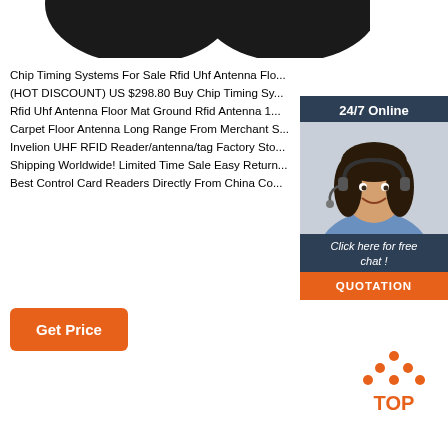[Figure (photo): Two dark circular RFID antenna/mat products shown from above, partially cropped at top of page]
Chip Timing Systems For Sale Rfid Uhf Antenna Flo... (HOT DISCOUNT) US $298.80 Buy Chip Timing Sy... Rfid Uhf Antenna Floor Mat Ground Rfid Antenna 1... Carpet Floor Antenna Long Range From Merchant S... Invelion UHF RFID Reader/antenna/tag Factory Sto... Shipping Worldwide! Limited Time Sale Easy Return... Best Control Card Readers Directly From China Co...
[Figure (infographic): 24/7 Online customer service chat widget with woman wearing headset, 'Click here for free chat!' text and QUOTATION button in dark blue and orange]
[Figure (other): TOP icon with orange dots arranged in triangle above the word TOP in orange]
Get Price